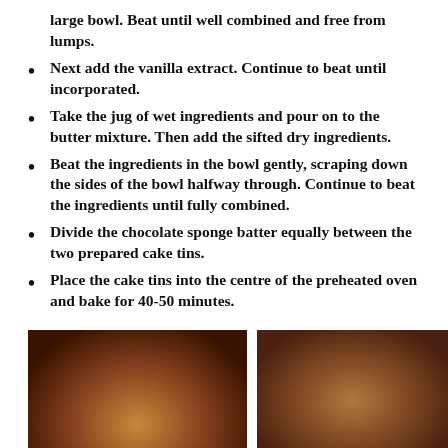large bowl. Beat until well combined and free from lumps.
Next add the vanilla extract. Continue to beat until incorporated.
Take the jug of wet ingredients and pour on to the butter mixture. Then add the sifted dry ingredients.
Beat the ingredients in the bowl gently, scraping down the sides of the bowl halfway through. Continue to beat the ingredients until fully combined.
Divide the chocolate sponge batter equally between the two prepared cake tins.
Place the cake tins into the centre of the preheated oven and bake for 40-50 minutes.
[Figure (photo): Two photos side by side showing chocolate cake sponges in cake tins, viewed from above, with browning tops visible.]